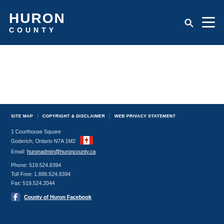[Figure (logo): Huron County logo — white text on dark blue header reading HURON COUNTY]
Huron County website header with logo, search icon, and menu icon
SITE MAP   COPYRIGHT & DISCLAIMER   WEB PRIVACY STATEMENT
1 Courthouse Square
Goderich, Ontario N7A 1M2
Email: huronadmin@huroncounty.ca
Phone: 519.524.8394
Toll Free: 1.888.524.8394
Fax: 519.524.2044
County of Huron Facebook